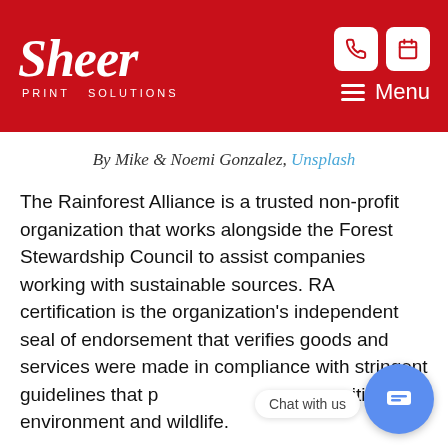Sheer Print Solutions
By Mike & Noemi Gonzalez, Unsplash
The Rainforest Alliance is a trusted non-profit organization that works alongside the Forest Stewardship Council to assist companies working with sustainable sources. RA certification is the organization's independent seal of endorsement that verifies goods and services were made in compliance with stringent guidelines that protect people, communities, the environment and wildlife.